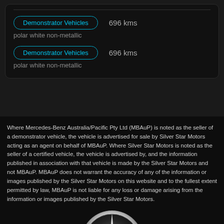Demonstrator Vehicles   696 kms
polar white non-metallic
Demonstrator Vehicles   696 kms
polar white non-metallic
Where Mercedes-Benz Australia/Pacific Pty Ltd (MBAuP) is noted as the seller of a demonstrator vehicle, the vehicle is advertised for sale by Silver Star Motors acting as an agent on behalf of MBAuP. Where Silver Star Motors is noted as the seller of a certified vehicle, the vehicle is advertised by, and the information published in association with that vehicle is made by the Silver Star Motors and not MBAuP. MBAuP does not warrant the accuracy of any of the information or images published by the Silver Star Motors on this website and to the fullest extent permitted by law, MBAuP is not liable for any loss or damage arising from the information or images published by the Silver Star Motors.
[Figure (logo): Mercedes-Benz three-pointed star logo, silver/chrome, partially visible at bottom of page]